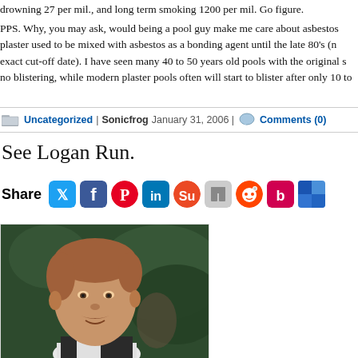drowning 27 per mil., and long term smoking 1200 per mil. Go figure.
PPS. Why, you may ask, would being a pool guy make me care about asbestos plaster used to be mixed with asbestos as a bonding agent until the late 80's (no exact cut-off date). I have seen many 40 to 50 years old pools with the original s no blistering, while modern plaster pools often will start to blister after only 10 to
Uncategorized | Sonicfrog January 31, 2006 | Comments (0)
See Logan Run.
Share
[Figure (photo): Portrait photo of a man with reddish-brown hair and a mustache, wearing a dark vest and white shirt, with a blurred green outdoor background.]